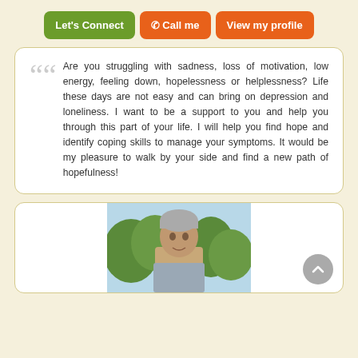[Figure (screenshot): Three navigation buttons: 'Let's Connect' (green), 'Call me' (orange), 'View my profile' (orange)]
Are you struggling with sadness, loss of motivation, low energy, feeling down, hopelessness or helplessness? Life these days are not easy and can bring on depression and loneliness. I want to be a support to you and help you through this part of your life. I will help you find hope and identify coping skills to manage your symptoms. It would be my pleasure to walk by your side and find a new path of hopefulness!
[Figure (photo): Photo of an older man with gray hair, outdoors with trees in background, partially visible at bottom of page. A gray scroll-to-top arrow button is in the bottom right corner.]